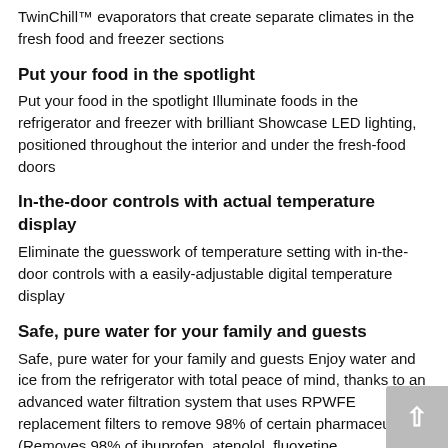TwinChill™ evaporators that create separate climates in the fresh food and freezer sections
Put your food in the spotlight
Put your food in the spotlight Illuminate foods in the refrigerator and freezer with brilliant Showcase LED lighting, positioned throughout the interior and under the fresh-food doors
In-the-door controls with actual temperature display
Eliminate the guesswork of temperature setting with in-the-door controls with a easily-adjustable digital temperature display
Safe, pure water for your family and guests
Safe, pure water for your family and guests Enjoy water and ice from the refrigerator with total peace of mind, thanks to an advanced water filtration system that uses RPWFE replacement filters to remove 98% of certain pharmaceuticals (Removes 98% of ibuprofen, atenolol, fluoxetine, progesterone and trimethoprim. These pharmaceuticals are not necessarily in all users'